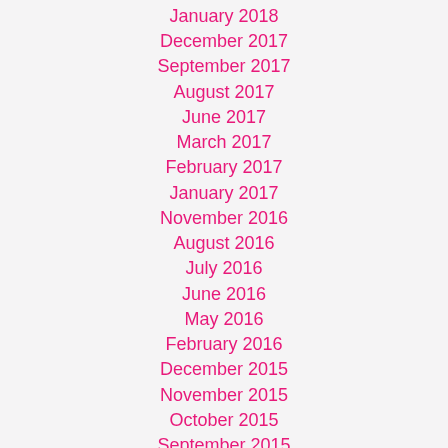January 2018
December 2017
September 2017
August 2017
June 2017
March 2017
February 2017
January 2017
November 2016
August 2016
July 2016
June 2016
May 2016
February 2016
December 2015
November 2015
October 2015
September 2015
August 2015
June 2015
May 2015